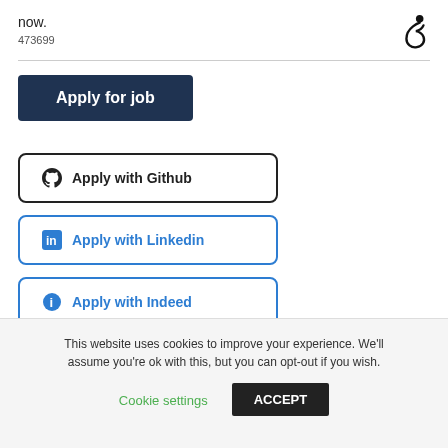now.
473699
Apply for job
Apply with Github
Apply with Linkedin
Apply with Indeed
This website uses cookies to improve your experience. We'll assume you're ok with this, but you can opt-out if you wish.
Cookie settings
ACCEPT